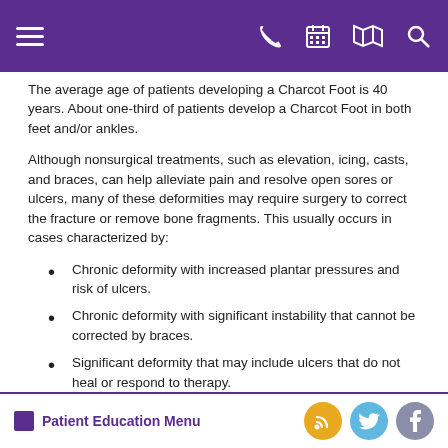[Navigation bar with hamburger menu, phone, calendar, map, and search icons]
The average age of patients developing a Charcot Foot is 40 years. About one-third of patients develop a Charcot Foot in both feet and/or ankles.
Although nonsurgical treatments, such as elevation, icing, casts, and braces, can help alleviate pain and resolve open sores or ulcers, many of these deformities may require surgery to correct the fracture or remove bone fragments. This usually occurs in cases characterized by:
Chronic deformity with increased plantar pressures and risk of ulcers.
Chronic deformity with significant instability that cannot be corrected by braces.
Significant deformity that may include ulcers that do not heal or respond to therapy.
Patient Education Menu